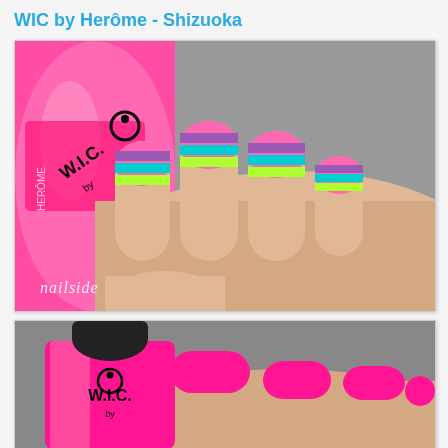WIC by Herôme - Shizuoka
[Figure (photo): Close-up of a hand holding a pink WIC by Herôme nail polish bottle, with nails painted in colorful stripe nail art (pink, teal, yellow-green, lavender). Watermark 'nailside' in lower left corner.]
[Figure (photo): Close-up of a hand with bright pink nails holding a pink WIC by Herôme nail polish bottle with a black cap, on a grey background.]